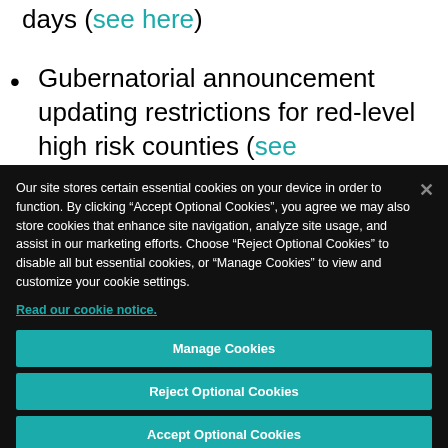days (see here)
Gubernatorial announcement updating restrictions for red-level high risk counties (see
Our site stores certain essential cookies on your device in order to function. By clicking “Accept Optional Cookies”, you agree we may also store cookies that enhance site navigation, analyze site usage, and assist in our marketing efforts. Choose “Reject Optional Cookies” to disable all but essential cookies, or “Manage Cookies” to view and customize your cookie settings.
Read our cookie notice.
Manage Cookies
Reject Optional Cookies
Accept Optional Cookies